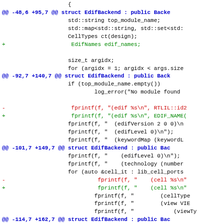[Figure (screenshot): A unified diff / code patch view showing changes to a C++ file (EdifBackend struct). Lines are colored: blue for diff hunk headers, green for added lines, red for removed lines, and black for context lines. The code is displayed in monospace font on a white background.]